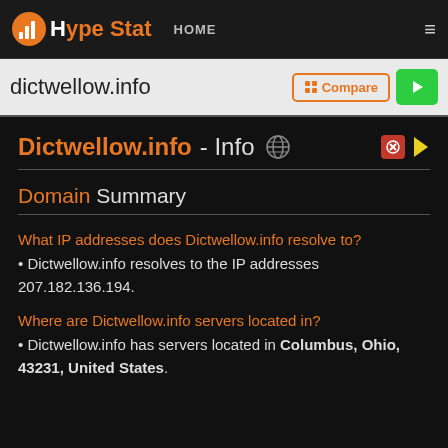HypeStat HOME
dictwellow.info
Dictwellow.info - Info
Domain Summary
What IP addresses does Dictwellow.info resolve to?
Dictwellow.info resolves to the IP addresses 207.182.136.194.
Where are Dictwellow.info servers located in?
Dictwellow.info has servers located in Columbus, Ohio, 43231, United States.